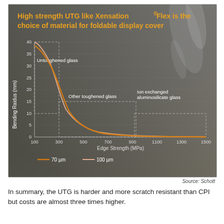[Figure (continuous-plot): Two decay curves (70 µm in orange/dark and 100 µm in light orange/pink) showing Bending Radius (mm) vs Edge Strength (MPa). The y-axis goes from 0 to 40 mm, x-axis from 100 to 1500 MPa. Three annotated regions: 'Untoughened glass' (dashed box, ~100–300 MPa, 10–40 mm), 'Other toughened glass' (dashed box, ~300–950 MPa, ~5–10 mm), 'Ion exchanged aluminosilicate glass' (dashed box, ~950–1550 MPa, ~2–8 mm). Legend shows 70 µm (dark orange line) and 100 µm (light orange line).]
Source: Schott
In summary, the UTG is harder and more scratch resistant than CPI but costs are almost three times higher.